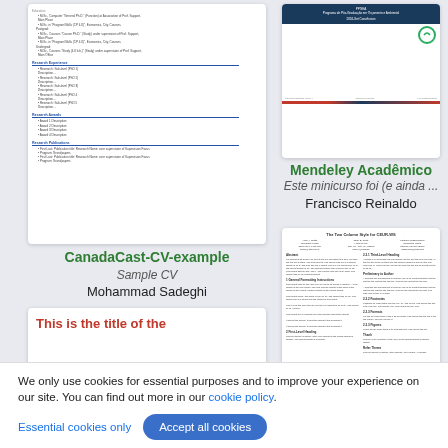[Figure (screenshot): Thumbnail of a CV document showing sections like Research Experience, Research Awards, Research Publications with blue section headers]
[Figure (screenshot): Thumbnail of a Mendeley Academico presentation slide with green title text and logo]
Mendeley Acadêmico
Este minicurso foi (e ainda ...
Francisco Reinaldo
CanadaCast-CV-example
Sample CV
Mohammad Sadeghi
[Figure (screenshot): Thumbnail of a CEUR-WS two column style paper with abstract and sections]
[Figure (screenshot): Partial thumbnail of a document with red bold title text 'This is the title of the']
We only use cookies for essential purposes and to improve your experience on our site. You can find out more in our cookie policy.
Essential cookies only
Accept all cookies